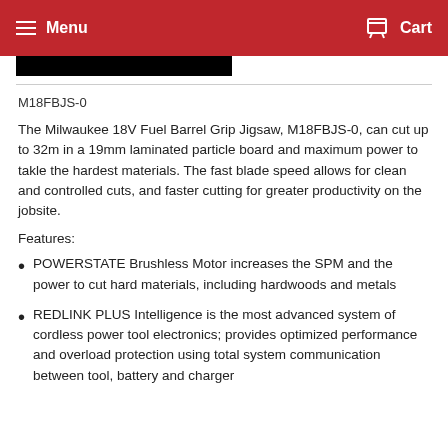Menu  Cart
M18FBJS-0
The Milwaukee 18V Fuel Barrel Grip Jigsaw, M18FBJS-0, can cut up to 32m in a 19mm laminated particle board and maximum power to takle the hardest materials. The fast blade speed allows for clean and controlled cuts, and faster cutting for greater productivity on the jobsite.
Features:
POWERSTATE Brushless Motor increases the SPM and the power to cut hard materials, including hardwoods and metals
REDLINK PLUS Intelligence is the most advanced system of cordless power tool electronics; provides optimized performance and overload protection using total system communication between tool, battery and charger